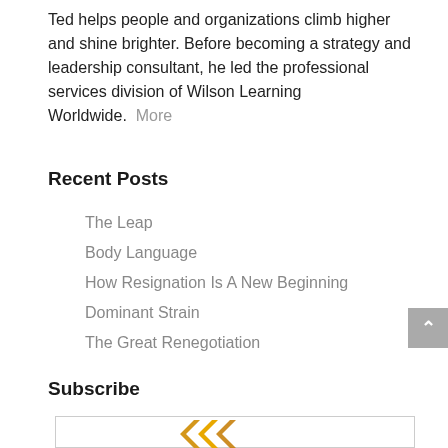Ted helps people and organizations climb higher and shine brighter. Before becoming a strategy and leadership consultant, he led the professional services division of Wilson Learning Worldwide.  More
Recent Posts
The Leap
Body Language
How Resignation Is A New Beginning
Dominant Strain
The Great Renegotiation
Subscribe
[Figure (logo): Partial logo with orange/gold chevron/arrow shapes visible at the bottom of the subscribe box]